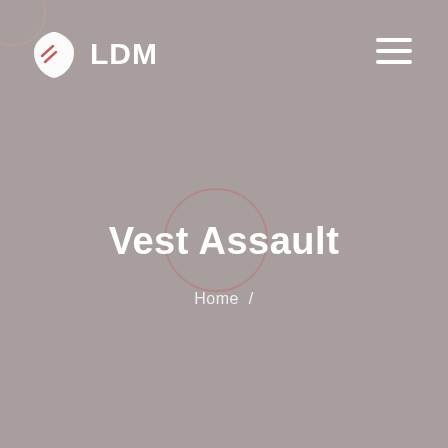[Figure (logo): LDM logo with shield/leaf icon and text LDM in white]
[Figure (illustration): Hamburger menu icon (three white horizontal lines) in top right]
Vest Assault
Home /